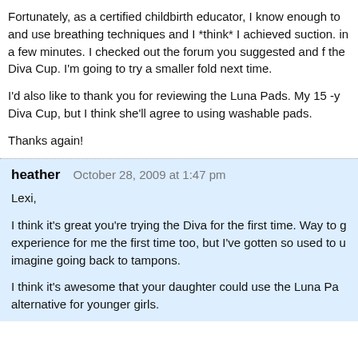Fortunately, as a certified childbirth educator, I know enough to and use breathing techniques and I *think* I achieved suction. in a few minutes. I checked out the forum you suggested and f the Diva Cup. I'm going to try a smaller fold next time.
I'd also like to thank you for reviewing the Luna Pads. My 15 -y Diva Cup, but I think she'll agree to using washable pads.
Thanks again!
heather   October 28, 2009 at 1:47 pm
Lexi,
I think it's great you're trying the Diva for the first time. Way to g experience for me the first time too, but I've gotten so used to u imagine going back to tampons.
I think it's awesome that your daughter could use the Luna Pa alternative for younger girls.